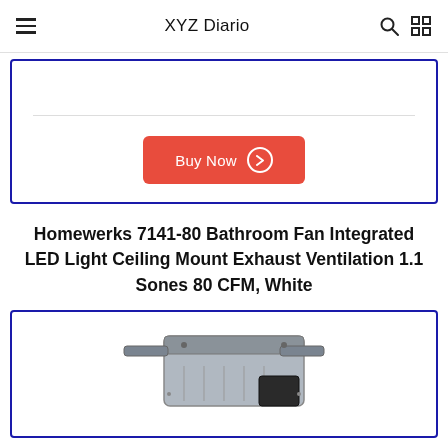XYZ Diario
[Figure (other): Buy Now button with red background and arrow circle icon]
Homewerks 7141-80 Bathroom Fan Integrated LED Light Ceiling Mount Exhaust Ventilation 1.1 Sones 80 CFM, White
[Figure (photo): Partial photo of Homewerks bathroom exhaust fan unit, silver/grey metal housing, ceiling mount hardware visible]